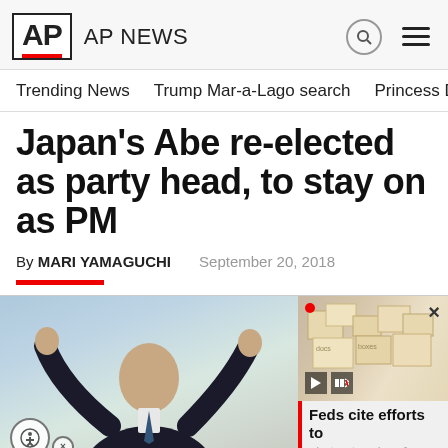AP NEWS
Trending News    Trump Mar-a-Lago search    Princess Diana's dea
Japan's Abe re-elected as party head, to stay on as PM
By MARI YAMAGUCHI    September 20, 2018
[Figure (photo): Man in suit with arms raised in celebration, photo in main area. Side panel shows second photo with video overlay and caption 'Feds cite efforts to obstruct probe of']